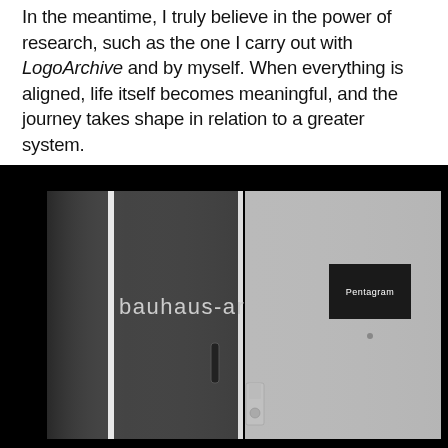In the meantime, I truly believe in the power of research, such as the one I carry out with LogoArchive and by myself. When everything is aligned, life itself becomes meaningful, and the journey takes shape in relation to a greater system.
[Figure (photo): Black and white composite photo showing two doors side by side against a black background. Left door is dark grey with 'bauhaus-archiv' text and a door handle. Right door is light grey with a small black rectangular sign reading 'Pentagram' and a door handle/lock.]